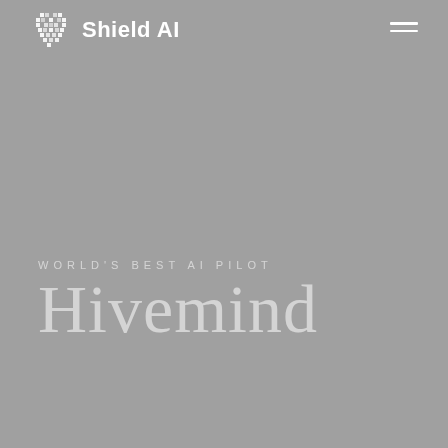[Figure (logo): Shield AI logo: pixelated shield icon followed by 'Shield AI' text in white on gray background, with hamburger menu icon on the right]
WORLD'S BEST AI PILOT
Hivemind